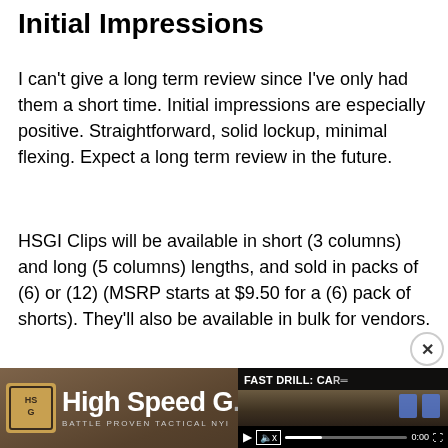Initial Impressions
I can't give a long term review since I've only had them a short time. Initial impressions are especially positive. Straightforward, solid lockup, minimal flexing. Expect a long term review in the future.
HSGI Clips will be available in short (3 columns) and long (5 columns) lengths, and sold in packs of (6) or (12) (MSRP starts at $9.50 for a (6) pack of shorts). They'll also be available in bulk for vendors.
[Figure (screenshot): High Speed Gear logo screenshot showing company name and tagline 'BATTLE PROVEN TACTICAL NYL']
[Figure (screenshot): Video player overlay showing 'FAST DRILL: CA...' with play button, mute icon, progress bar at 0:00, and fullscreen button. Background shows shooting range scene.]